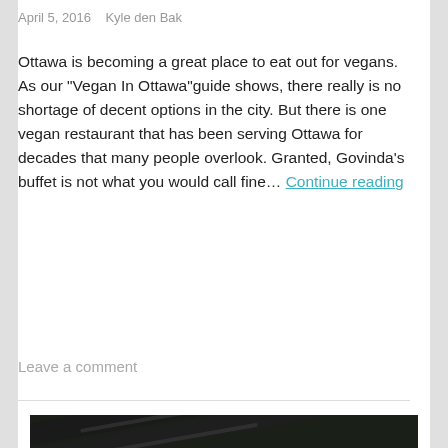April 5, 2016   Kyle den Bak
Ottawa is becoming a great place to eat out for vegans. As our “Vegan In Ottawa”guide shows, there really is no shortage of decent options in the city. But there is one vegan restaurant that has been serving Ottawa for decades that many people overlook. Granted, Govinda’s buffet is not what you would call fine… Continue reading
Leave a comment
[Figure (photo): A bowl of soup or broth with dark noodles and green leafy vegetables, with black chopsticks resting across the bowl and a white ceramic spoon]